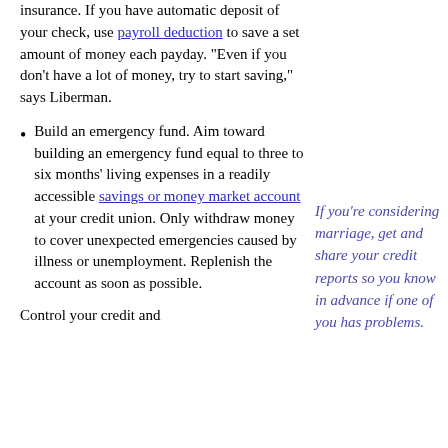insurance. If you have automatic deposit of your check, use payroll deduction to save a set amount of money each payday. "Even if you don't have a lot of money, try to start saving," says Liberman.
Build an emergency fund. Aim toward building an emergency fund equal to three to six months' living expenses in a readily accessible savings or money market account at your credit union. Only withdraw money to cover unexpected emergencies caused by illness or unemployment. Replenish the account as soon as possible.
If you're considering marriage, get and share your credit reports so you know in advance if one of you has problems.
Control your credit and